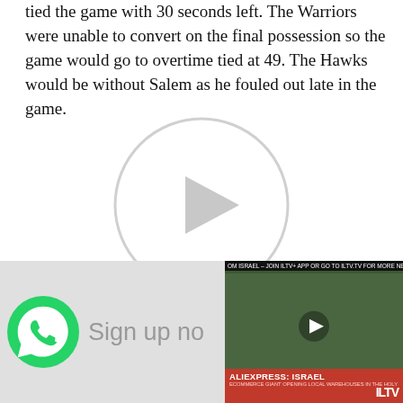tied the game with 30 seconds left. The Warriors were unable to convert on the final possession so the game would go to overtime tied at 49. The Hawks would be without Salem as he fouled out late in the game.
[Figure (other): Video play button circle placeholder]
During overtime, the Warriors went on an 11-3 run to start the period and did not look back. They were propelled by their
[Figure (screenshot): WhatsApp sign-up overlay banner with green WhatsApp logo and 'Sign up now' text]
[Figure (screenshot): ILTV news overlay showing a video thumbnail with ticker 'OM ISRAEL - JOIN ILTV+ APP OR GO TO ILTV.TV - FOR MORE NEWS AND CO' and a lower-third 'ALIEXPRESS: ISRAEL / ECOMMERCE GIANT OPENING LOCAL WAREHOUSES IN THE HOLY LAND']
blocks. Dweck (finals MVP) added Jack Cohen (tournament all star) shooting. The Warriors went 5-1 i